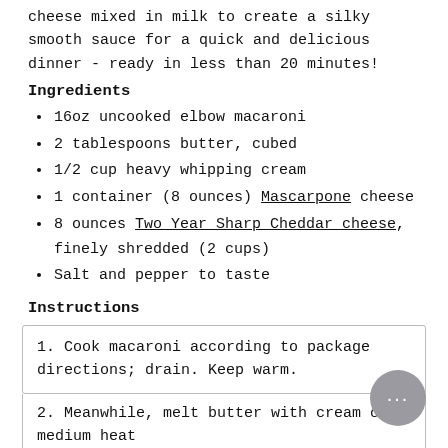cheese mixed in milk to create a silky smooth sauce for a quick and delicious dinner - ready in less than 20 minutes!
Ingredients
16oz uncooked elbow macaroni
2 tablespoons butter, cubed
1/2 cup heavy whipping cream
1 container (8 ounces) Mascarpone cheese
8 ounces Two Year Sharp Cheddar cheese, finely shredded (2 cups)
Salt and pepper to taste
Instructions
1. Cook macaroni according to package directions; drain. Keep warm.
2. Meanwhile, melt butter with cream over medium heat